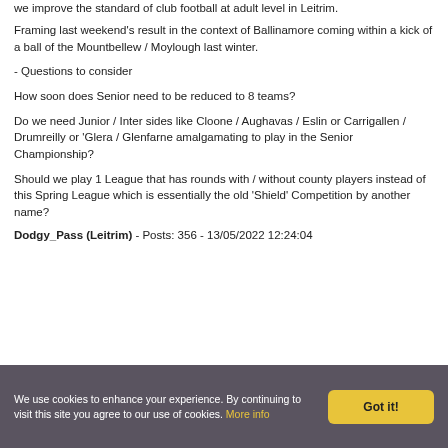…we improve the standard of club football at adult level in Leitrim.
Framing last weekend's result in the context of Ballinamore coming within a kick of a ball of the Mountbellew / Moylough last winter.
- Questions to consider
How soon does Senior need to be reduced to 8 teams?
Do we need Junior / Inter sides like Cloone / Aughavas / Eslin or Carrigallen / Drumreilly or 'Glera / Glenfarne amalgamating to play in the Senior Championship?
Should we play 1 League that has rounds with / without county players instead of this Spring League which is essentially the old 'Shield' Competition by another name?
Dodgy_Pass (Leitrim) - Posts: 356 - 13/05/2022 12:24:04
We use cookies to enhance your experience. By continuing to visit this site you agree to our use of cookies. More info